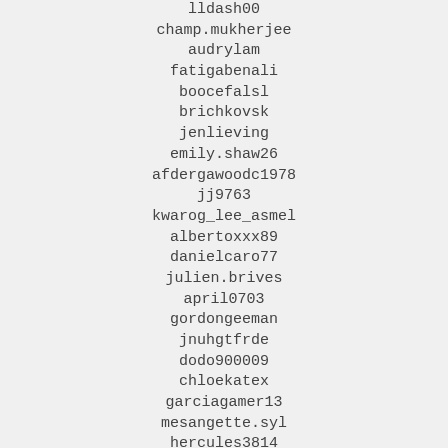lldash00
champ.mukherjee
audrylam
fatigabenali
boocefalsl
brichkovsk
jenlieving
emily.shaw26
afdergawoodc1978
jj9763
kwarog_lee_asmel
albertoxxx89
danielcaro77
julien.brives
april0703
gordongeeman
jnuhgtfrde
dodo900009
chloekatex
garciagamer13
mesangette.syl
hercules3814
blondie1204
joevargas0218
anton.kabernik.99